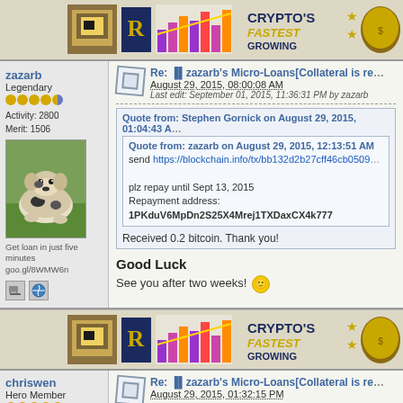[Figure (screenshot): Top banner advertisement for crypto service showing logos and 'CRYPTO'S FASTEST GROWING' text]
zazarb
Legendary
Activity: 2800
Merit: 1506
[Figure (photo): Photo of a dog lying on grass]
Get loan in just five minutes goo.gl/8WMW6n
Re: zazarb's Micro-Loans[Collateral is re…
August 29, 2015, 08:00:08 AM
Last edit: September 01, 2015, 11:36:31 PM by zazarb
Quote from: Stephen Gornick on August 29, 2015, 01:04:43 A…
Quote from: zazarb on August 29, 2015, 12:13:51 AM
send https://blockchain.info/tx/bb132d2b27cff46cb0509…
plz repay until Sept 13, 2015
Repayment address:
1PKduV6MpDn2S25X4Mrej1TXDaxCX4k777
Received 0.2 bitcoin. Thank you!
Good Luck
See you after two weeks!
[Figure (screenshot): Middle banner advertisement for crypto service showing logos and 'CRYPTO'S FASTEST GROWING' text]
chriswen
Hero Member
Re: zazarb's Micro-Loans[Collateral is re…
August 29, 2015, 01:32:15 PM
Quote from: zazarb on August 28, 2015, 02:47:30 PM